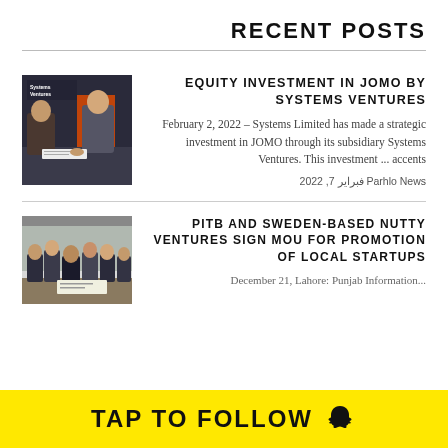RECENT POSTS
[Figure (photo): Photo of people at a signing event, Systems Ventures branding visible]
EQUITY INVESTMENT IN JOMO BY SYSTEMS VENTURES
February 2, 2022 – Systems Limited has made a strategic investment in JOMO through its subsidiary Systems Ventures. This investment ... accents
Parhlo News فبراير 7, 2022
[Figure (photo): Group photo at a signing event for PITB and Nutty Ventures MOU]
PITB AND SWEDEN-BASED NUTTY VENTURES SIGN MOU FOR PROMOTION OF LOCAL STARTUPS
December 21, Lahore: Punjab Information...
TAP TO FOLLOW